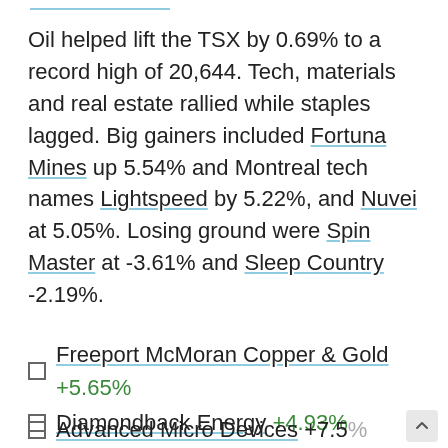Oil helped lift the TSX by 0.69% to a record high of 20,644. Tech, materials and real estate rallied while staples lagged. Big gainers included Fortuna Mines up 5.54% and Montreal tech names Lightspeed by 5.22%, and Nuvei at 5.05%. Losing ground were Spin Master at -3.61% and Sleep Country -2.19%.
Freeport McMoran Copper & Gold +5.65%
Diamondback Energy +4.93%
Advanced Micro Devices +7.54%